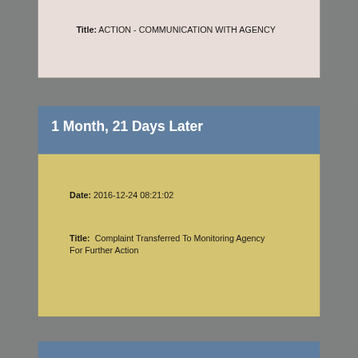Title: ACTION - COMMUNICATION WITH AGENCY
1 Month, 21 Days Later
Date: 2016-12-24 08:21:02
Title: Complaint Transferred To Monitoring Agency For Further Action